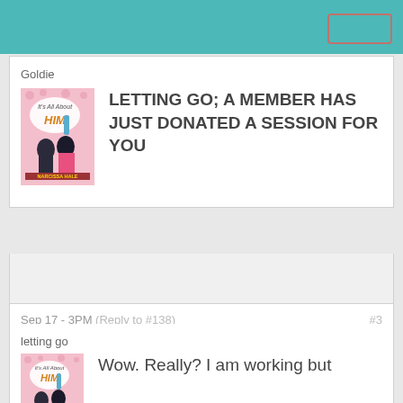Goldie
LETTING GO; A MEMBER HAS JUST DONATED A SESSION FOR YOU
Sep 17 - 3PM (Reply to #138) #3
letting go
Wow. Really? I am working but